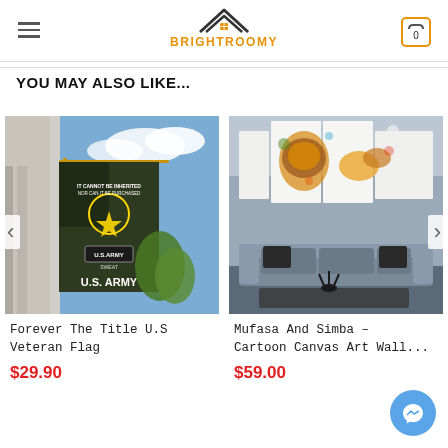BRIGHTROOMY
YOU MAY ALSO LIKE...
[Figure (photo): U.S. Army flag hanging on house exterior showing text 'Forever The Title U.S. Army']
Forever The Title U.S Veteran Flag
$29.90
[Figure (photo): Mufasa and Simba cartoon canvas art wall print displayed above couch in living room]
Mufasa And Simba – Cartoon Canvas Art Wall...
$59.00